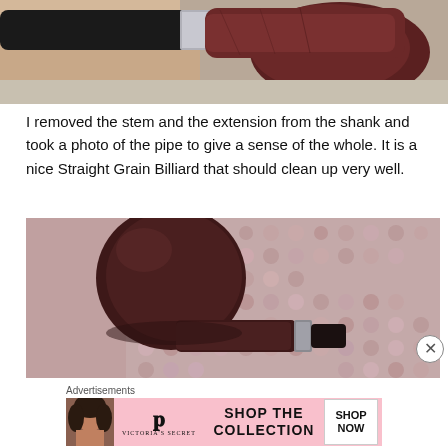[Figure (photo): Close-up photo of a tobacco pipe stem with silver band and dark red briar bowl held in a hand against a textured background]
I removed the stem and the extension from the shank and took a photo of the pipe to give a sense of the whole. It is a nice Straight Grain Billiard that should clean up very well.
[Figure (photo): Photo of a dark briar tobacco pipe billiard shape with black stem and silver band, resting on a pink/mauve woven textile background]
Advertisements
[Figure (infographic): Victoria's Secret advertisement banner: model with curly hair, VS logo, text SHOP THE COLLECTION, and SHOP NOW button]